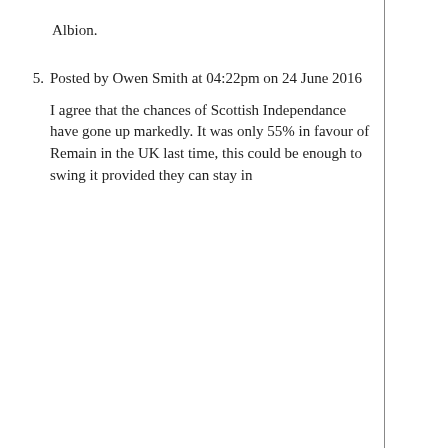Albion.
5. Posted by Owen Smith at 04:22pm on 24 June 2016

I agree that the chances of Scottish Independance have gone up markedly. It was only 55% in favour of Remain in the UK last time, this could be enough to swing it provided they can stay in